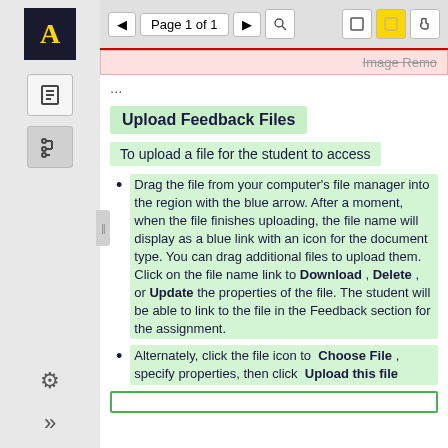[Figure (screenshot): Left sidebar with app logo (letter A in gold on dark background), document icon (active), tree/hierarchy icon, settings gear icon, and double chevron icon. Navigation sidebar of a web application.]
[Figure (screenshot): Toolbar showing page navigation: back arrow, 'Page 1 of 1', forward arrow, search icon, two square icons, and hand icon. Below is a pink bar with strikethrough text 'Image Remo...']
...
Upload Feedback Files
To upload a file for the student to access
Drag the file from your computer's file manager into the region with the blue arrow. After a moment, when the file finishes uploading, the file name will display as a blue link with an icon for the document type. You can drag additional files to upload them. Click on the file name link to Download , Delete , or Update the properties of the file. The student will be able to link to the file in the Feedback section for the assignment.
Alternately, click the file icon to Choose File , specify properties, then click Upload this file
[Figure (screenshot): Bottom green-bordered box (partially visible)]